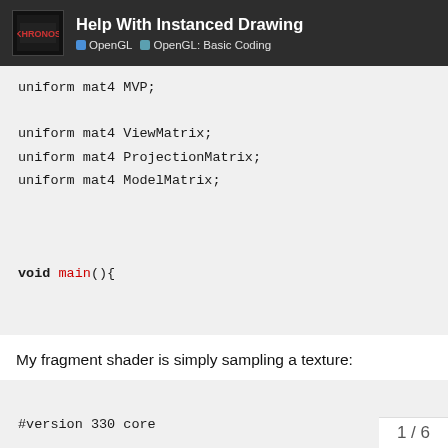Help With Instanced Drawing | OpenGL | OpenGL: Basic Coding
uniform mat4 MVP;

uniform mat4 ViewMatrix;
uniform mat4 ProjectionMatrix;
uniform mat4 ModelMatrix;

void main(){
My fragment shader is simply sampling a texture:
#version 330 core

// Interpolated values from th
in vec2 UV;
1 / 6